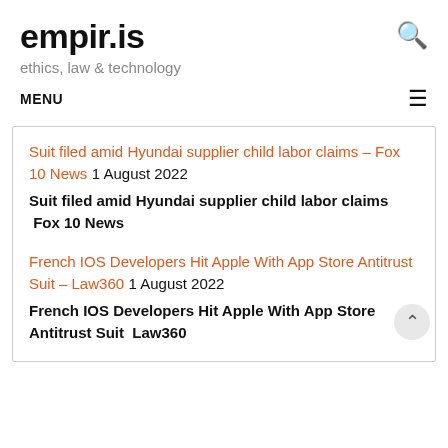empir.is
ethics, law & technology
MENU
Suit filed amid Hyundai supplier child labor claims – Fox 10 News 1 August 2022
Suit filed amid Hyundai supplier child labor claims  Fox 10 News
French IOS Developers Hit Apple With App Store Antitrust Suit – Law360 1 August 2022
French IOS Developers Hit Apple With App Store Antitrust Suit  Law360